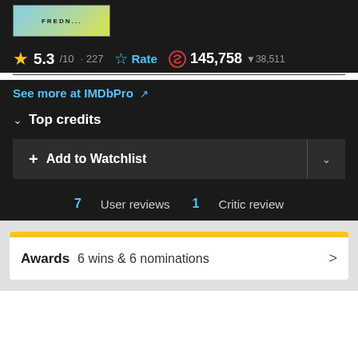[Figure (photo): Movie poster thumbnail showing colorful illustrated text, partially visible at top of page]
5.3/10 · 227  ☆ Rate  145,758 ▼38,511
See more at IMDbPro ↗
∨  Top credits
+ Add to Watchlist
7 User reviews  1 Critic review
Awards  6 wins & 6 nominations  >